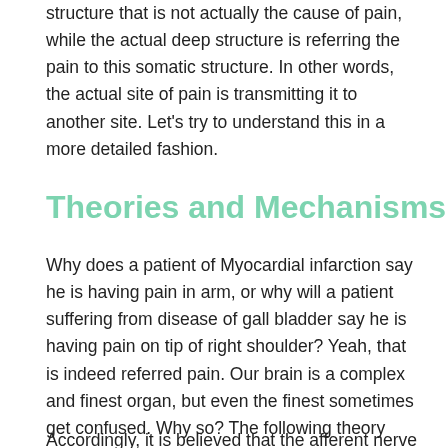structure that is not actually the cause of pain, while the actual deep structure is referring the pain to this somatic structure. In other words, the actual site of pain is transmitting it to another site. Let's try to understand this in a more detailed fashion.
Theories and Mechanisms
Why does a patient of Myocardial infarction say he is having pain in arm, or why will a patient suffering from disease of gall bladder say he is having pain on tip of right shoulder? Yeah, that is indeed referred pain. Our brain is a complex and finest organ, but even the finest sometimes get confused. Why so? The following theory might just clear out some basics to figure it out. Let's see the theories of referred pain in detail.
Accordingly, it is believed that the afferent nerve serving...